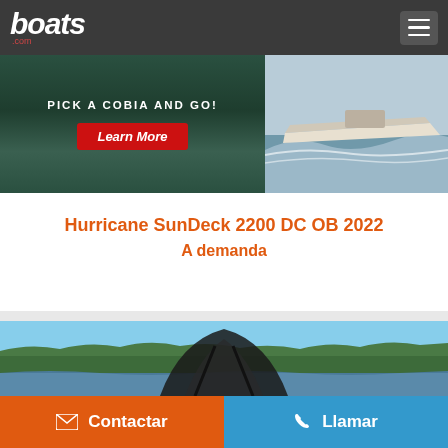[Figure (screenshot): boats.com website header with logo and hamburger menu on dark gray background]
[Figure (photo): Advertisement banner: PICK A COBIA AND GO! with Learn More red button on left, Cobia boat on water on right]
Hurricane SunDeck 2200 DC OB 2022
A demanda
[Figure (photo): Boat photo showing dark bimini top with water and tree line in background under blue sky]
Contactar
Llamar